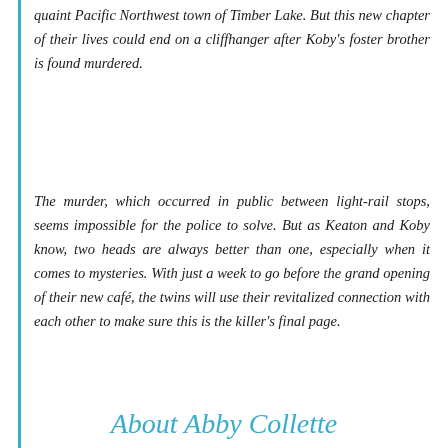quaint Pacific Northwest town of Timber Lake. But this new chapter of their lives could end on a cliffhanger after Koby's foster brother is found murdered.
The murder, which occurred in public between light-rail stops, seems impossible for the police to solve. But as Keaton and Koby know, two heads are always better than one, especially when it comes to mysteries. With just a week to go before the grand opening of their new café, the twins will use their revitalized connection with each other to make sure this is the killer's final page.
About Abby Collette